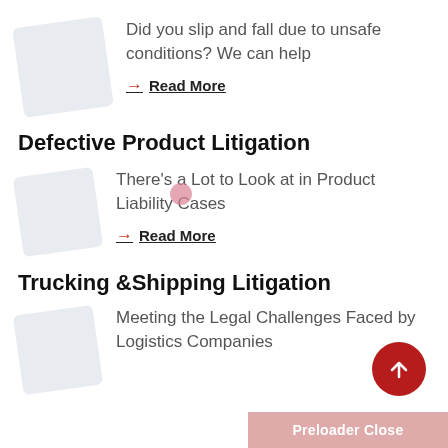Did you slip and fall due to unsafe conditions? We can help
→ Read More
Defective Product Litigation
There's a Lot to Look at in Product Liability Cases
→ Read More
Trucking &Shipping Litigation
Meeting the Legal Challenges Faced by Logistics Companies